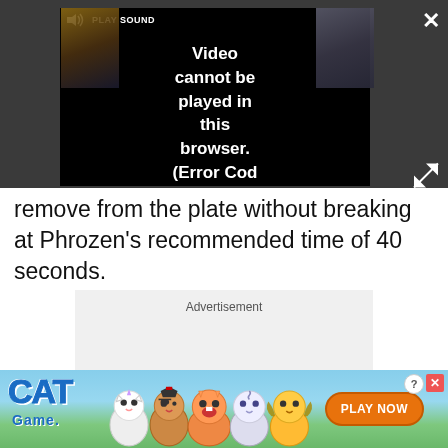[Figure (screenshot): Video player showing error message: 'Video cannot be played in this browser. (Error Cod' with PLAY SOUND button and close/expand controls on dark background]
remove from the plate without breaking at Phrozen's recommended time of 40 seconds.
[Figure (screenshot): Advertisement placeholder box with light gray background]
[Figure (screenshot): Cat Game mobile game advertisement banner with cartoon cat characters and PLAY NOW button]